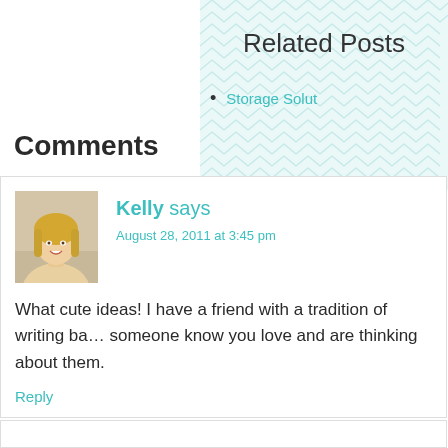Related Posts
Storage Solut…
Comments
[Figure (photo): Profile photo of Kelly, a blonde woman smiling]
Kelly says
August 28, 2011 at 3:45 pm
What cute ideas! I have a friend with a tradition of writing ba… someone know you love and are thinking about them.
Reply